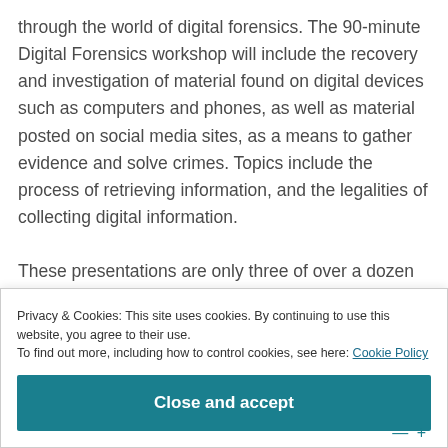through the world of digital forensics. The 90-minute Digital Forensics workshop will include the recovery and investigation of material found on digital devices such as computers and phones, as well as material posted on social media sites, as a means to gather evidence and solve crimes. Topics include the process of retrieving information, and the legalities of collecting digital information.

These presentations are only three of over a dozen
Privacy & Cookies: This site uses cookies. By continuing to use this website, you agree to their use.
To find out more, including how to control cookies, see here: Cookie Policy
Close and accept